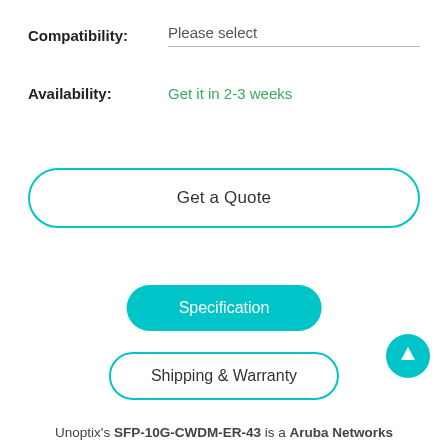Compatibility: Please select
Availability: Get it in 2-3 weeks
Get a Quote
Specification
Shipping & Warranty
Unoptix's SFP-10G-CWDM-ER-43 is a Aruba Networks